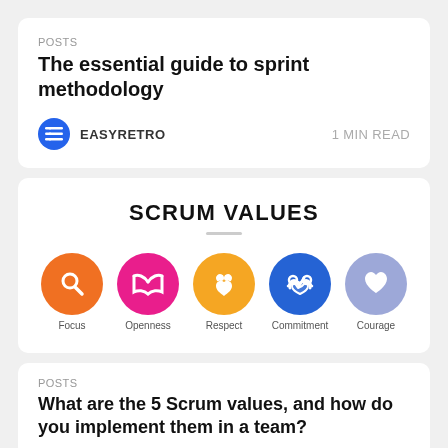POSTS
The essential guide to sprint methodology
EASYRETRO   1 MIN READ
[Figure (infographic): Scrum Values infographic showing 5 colored circles with icons: Focus (orange, magnifying glass), Openness (pink, open book), Respect (yellow/orange, handshake with heart), Commitment (blue, handshake), Courage (light purple, heart). Title reads SCRUM VALUES.]
POSTS
What are the 5 Scrum values, and how do you implement them in a team?